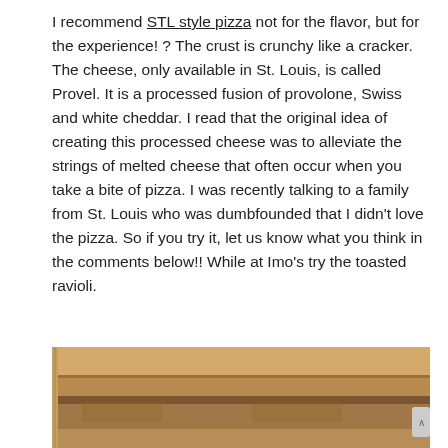I recommend STL style pizza not for the flavor, but for the experience! ? The crust is crunchy like a cracker. The cheese, only available in St. Louis, is called Provel. It is a processed fusion of provolone, Swiss and white cheddar. I read that the original idea of creating this processed cheese was to alleviate the strings of melted cheese that often occur when you take a bite of pizza. I was recently talking to a family from St. Louis who was dumbfounded that I didn't love the pizza. So if you try it, let us know what you think in the comments below!! While at Imo's try the toasted ravioli.
[Figure (photo): Photo of a pizza box or cardboard, showing brown corrugated cardboard material, partially visible at the bottom of the page.]